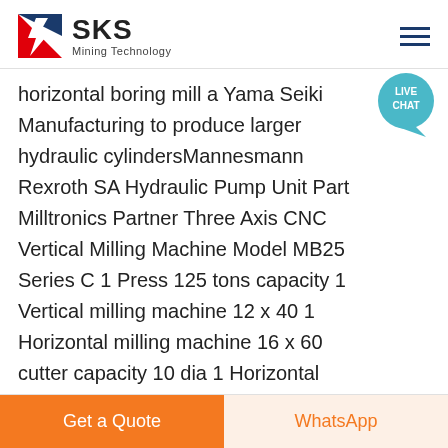[Figure (logo): SKS Mining Technology logo with red and blue chevron/lightning bolt graphic and company name]
horizontal boring mill a Yama Seiki Manufacturing to produce larger hydraulic cylindersMannesmann Rexroth SA Hydraulic Pump Unit Part Milltronics Partner Three Axis CNC Vertical Milling Machine Model MB25 Series C 1 Press 125 tons capacity 1 Vertical milling machine 12 x 40 1 Horizontal milling machine 16 x 60 cutter capacity 10 dia 1 Horizontal milling machine 6 x
[Figure (other): LIVE CHAT speech bubble icon in teal/turquoise color]
Contact Now
Get a Quote
WhatsApp